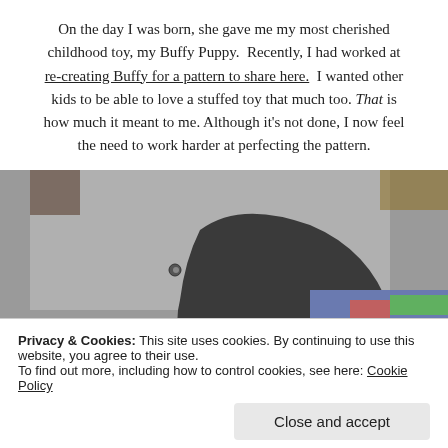On the day I was born, she gave me my most cherished childhood toy, my Buffy Puppy. Recently, I had worked at re-creating Buffy for a pattern to share here. I wanted other kids to be able to love a stuffed toy that much too. That is how much it meant to me. Although it's not done, I now feel the need to work harder at perfecting the pattern.
[Figure (photo): A photo of what appears to be a stuffed toy or puppy lying on a gray surface, partially covered by a colorful blanket or quilt visible in the lower right corner.]
Privacy & Cookies: This site uses cookies. By continuing to use this website, you agree to their use.
To find out more, including how to control cookies, see here: Cookie Policy